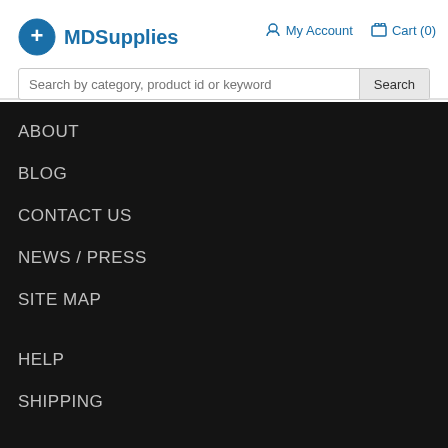MDSupplies | My Account | Cart (0)
Search by category, product id or keyword
ABOUT
BLOG
CONTACT US
NEWS / PRESS
SITE MAP
HELP
SHIPPING